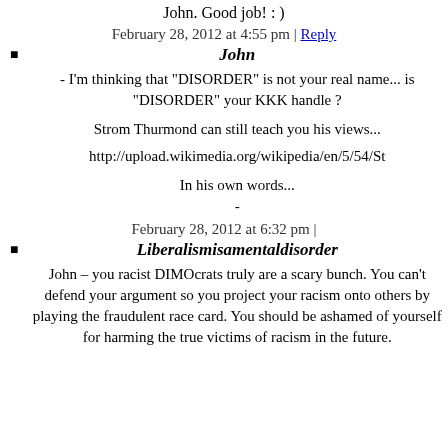John. Good job! : )
February 28, 2012 at 4:55 pm | Reply
John
- I'm thinking that "DISORDER" is not your real name... is "DISORDER" your KKK handle ?

Strom Thurmond can still teach you his views...

http://upload.wikimedia.org/wikipedia/en/5/54/St

In his own words...

-
February 28, 2012 at 6:32 pm |
Liberalismisamentaldisorder
John – you racist DIMOcrats truly are a scary bunch. You can't defend your argument so you project your racism onto others by playing the fraudulent race card. You should be ashamed of yourself for harming the true victims of racism in the future.